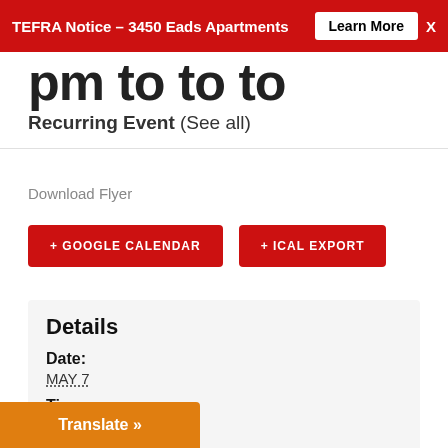TEFRA Notice – 3450 Eads Apartments  Learn More  X
pm to to to
Recurring Event (See all)
Download Flyer
+ GOOGLE CALENDAR
+ ICAL EXPORT
Details
Date:
MAY 7
Time:
5:30 pm – 6:30 pm
Event Category:
DC Open Doors